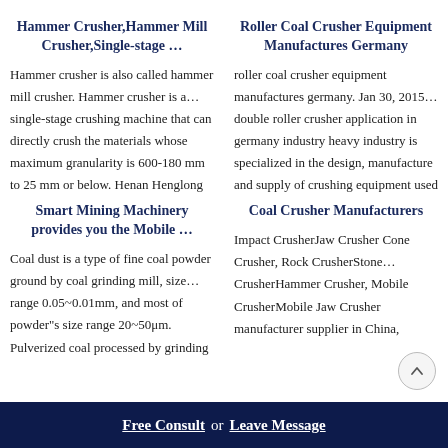Hammer Crusher,Hammer Mill Crusher,Single-stage …
Hammer crusher is also called hammer mill crusher. Hammer crusher is a… single-stage crushing machine that can directly crush the materials whose maximum granularity is 600-180 mm to 25 mm or below. Henan Henglong
Roller Coal Crusher Equipment Manufactures Germany
roller coal crusher equipment manufactures germany. Jan 30, 2015… double roller crusher application in germany industry heavy industry is specialized in the design, manufacture and supply of crushing equipment used
Smart Mining Machinery provides you the Mobile …
Coal dust is a type of fine coal powder ground by coal grinding mill, size… range 0.05~0.01mm, and most of powder"s size range 20~50μm. Pulverized coal processed by grinding
Coal Crusher Manufacturers
Impact CrusherJaw Crusher Cone Crusher, Rock CrusherStone… CrusherHammer Crusher, Mobile CrusherMobile Jaw Crusher manufacturer supplier in China,
Free Consult  or  Leave Message